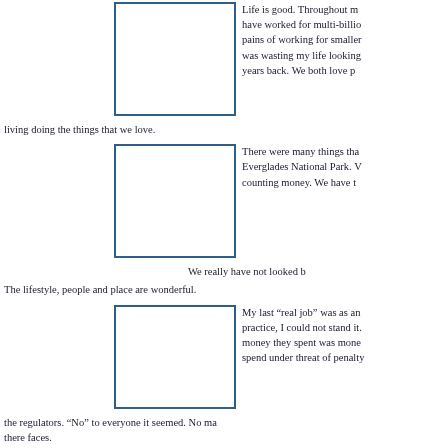[Figure (other): Blank rectangle placeholder image with blue border]
Life is good.  Throughout my career I have worked for multi-billion dollar firms, know the pains of working for smaller companies, and felt I was wasting my life looking at screens. That was years back.  We both love people and make a living doing the things that we love.
[Figure (other): Blank rectangle placeholder image with blue border]
There were many things that led us to the Everglades National Park.  We got so tired of counting money.  We have to
We really have not looked back since we arrived. The lifestyle, people and place are wonderful.
[Figure (other): Blank rectangle placeholder image with blue border]
My last “real job” was as an attorney in private practice, I could not stand it. The reality was that money they spent was money they were forced to spend under threat of penalty by the courts and the regulators. “No” to everyone it seemed. No matter the look on there faces.
[Figure (other): Blank rectangle placeholder image with blue border]
Things are different now.  We are happy to be here.  They are excited, love this area and place. If someone does not like this area, they can go anywhere.  It has really been great meeting all the people and personalities.